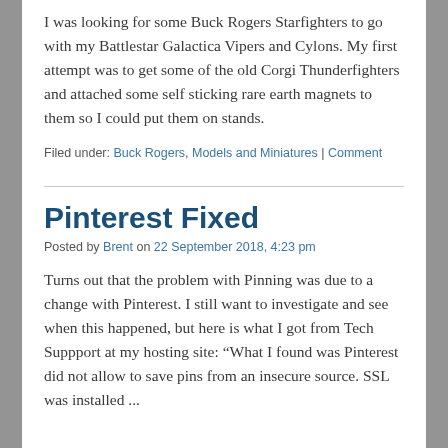I was looking for some Buck Rogers Starfighters to go with my Battlestar Galactica Vipers and Cylons. My first attempt was to get some of the old Corgi Thunderfighters and attached some self sticking rare earth magnets to them so I could put them on stands.
Filed under: Buck Rogers, Models and Miniatures | Comment
Pinterest Fixed
Posted by Brent on 22 September 2018, 4:23 pm
Turns out that the problem with Pinning was due to a change with Pinterest. I still want to investigate and see when this happened, but here is what I got from Tech Suppport at my hosting site: “What I found was Pinterest did not allow to save pins from an insecure source. SSL was installed ...